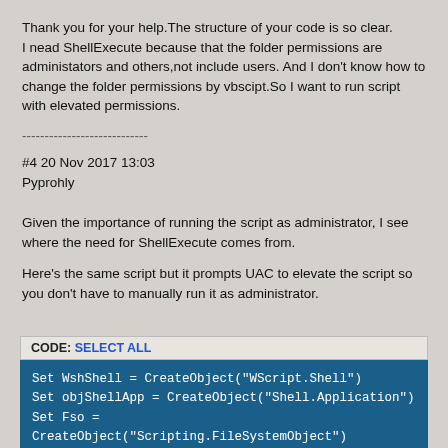Thank you for your help.The structure of your code is so clear. I nead ShellExecute because that the folder permissions are administators and others,not include users. And I don't know how to change the folder permissions by vbscipt.So I want to run script with elevated permissions.
----------------------------
#4 20 Nov 2017 13:03
Pyprohly
Given the importance of running the script as administrator, I see where the need for ShellExecute comes from.
Here's the same script but it prompts UAC to elevate the script so you don't have to manually run it as administrator.
CODE: SELECT ALL
Set WshShell = CreateObject("WScript.Shell")
Set objShellApp = CreateObject("Shell.Application")
Set Fso = CreateObject("Scripting.FileSystemObject")

Sub PromptForElevation()
    If WshShell.Run("net.exe.sess", 0, True) <> 0